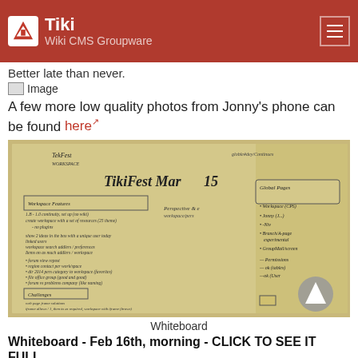Tiki Wiki CMS Groupware
Better late than never.
[Figure (other): Broken image placeholder icon with text 'Image']
A few more low quality photos from Jonny's phone can be found here
[Figure (photo): Whiteboard photo from TikiFest showing handwritten notes about Workspace features, Perspective, Global Pages, Jonny, etc.]
Whiteboard
Whiteboard - Feb 16th, morning - CLICK TO SEE IT FULL